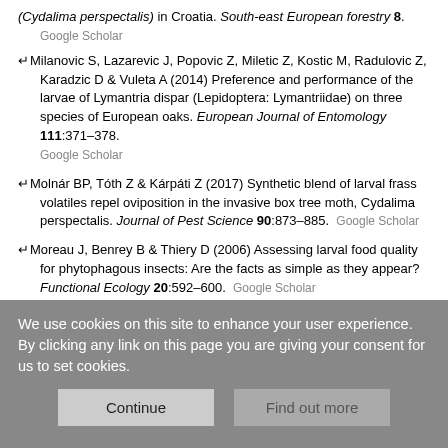(Cydalima perspectalis) in Croatia. South-east European forestry 8. Google Scholar
Milanovic S, Lazarevic J, Popovic Z, Miletic Z, Kostic M, Radulovic Z, Karadzic D & Vuleta A (2014) Preference and performance of the larvae of Lymantria dispar (Lepidoptera: Lymantriidae) on three species of European oaks. European Journal of Entomology 111:371–378. Google Scholar
Molnár BP, Tóth Z & Kárpáti Z (2017) Synthetic blend of larval frass volatiles repel oviposition in the invasive box tree moth, Cydalima perspectalis. Journal of Pest Science 90:873–885. Google Scholar
Moreau J, Benrey B & Thiery D (2006) Assessing larval food quality for phytophagous insects: Are the facts as simple as they appear? Functional Ecology 20:592–600. Google Scholar
We use cookies on this site to enhance your user experience. By clicking any link on this page you are giving your consent for us to set cookies.